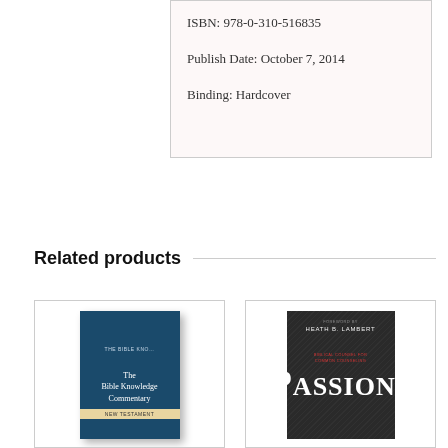ISBN: 978-0-310-516835
Publish Date: October 7, 2014
Binding: Hardcover
Related products
[Figure (photo): Book cover: The Bible Knowledge Commentary New Testament, dark blue hardcover]
[Figure (photo): Book cover: Passions, foreword by Heath B. Lambert, dark grey textured cover with red subtitle text]